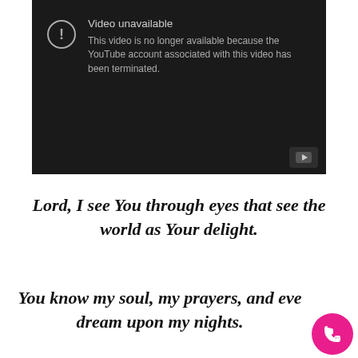[Figure (screenshot): YouTube embedded video player showing 'Video unavailable' error message. Dark background with a circle-exclamation icon and text: 'Video unavailable. This video is no longer available because the YouTube account associated with this video has been terminated.' YouTube play button logo visible in bottom-right corner.]
Lord, I see You through eyes that see the world as Your delight.
You know my soul, my prayers, and every dream upon my nights.